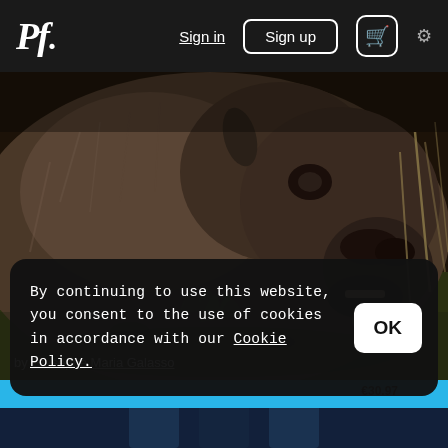Pf. Sign in  Sign up  🛒  ⚙
[Figure (photo): Close-up photograph of a water buffalo or bison lying in grass, dark fur with open mouth, by Giuseppe Maria Galasso]
by Giuseppe Maria Galasso
By continuing to use this website, you consent to the use of cookies in accordance with our Cookie Policy.
OK